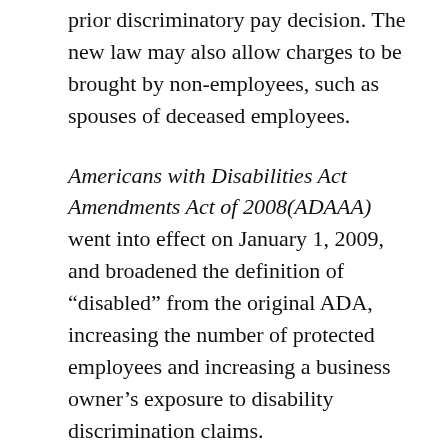prior discriminatory pay decision. The new law may also allow charges to be brought by non-employees, such as spouses of deceased employees.
Americans with Disabilities Act Amendments Act of 2008(ADAAA) went into effect on January 1, 2009, and broadened the definition of “disabled” from the original ADA, increasing the number of protected employees and increasing a business owner’s exposure to disability discrimination claims.
Age Discrimination in Employment Act of 1967 (ADEA) was broadened in 2005 and 2008 by two separate Supreme Court decisions. Employers